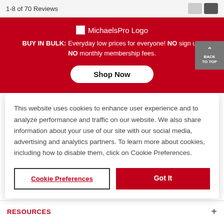1-8 of 70 Reviews
[Figure (screenshot): MichaelsPro Logo placeholder image with text 'MichaelsPro Logo']
BUY IN BULK: Everyday low prices for everyone! NO sign up. NO monthly membership fees.
Shop Now
BACK TO TOP
This website uses cookies to enhance user experience and to analyze performance and traffic on our website. We also share information about your use of our site with our social media, advertising and analytics partners. To learn more about cookies, including how to disable them, click on Cookie Preferences.
Cookie Preferences
Got It
RESOURCES